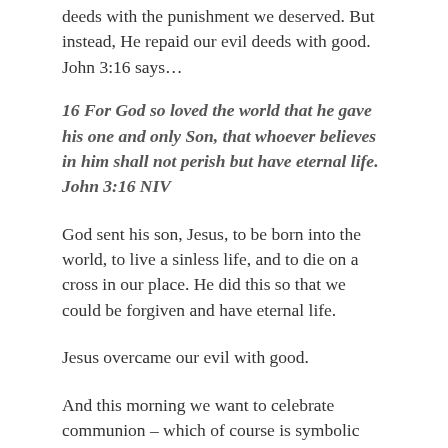deeds with the punishment we deserved. But instead, He repaid our evil deeds with good. John 3:16 says…
16 For God so loved the world that he gave his one and only Son, that whoever believes in him shall not perish but have eternal life. John 3:16 NIV
God sent his son, Jesus, to be born into the world, to live a sinless life, and to die on a cross in our place. He did this so that we could be forgiven and have eternal life.
Jesus overcame our evil with good.
And this morning we want to celebrate communion – which of course is symbolic meal that reminds us of that very fact.